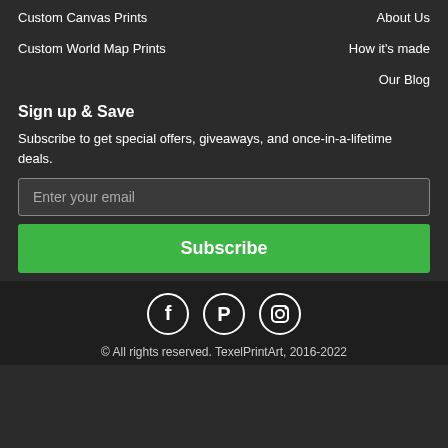Custom Canvas Prints
Custom World Map Prints
About Us
How it's made
Our Blog
Sign up & Save
Subscribe to get special offers, giveaways, and once-in-a-lifetime deals.
Enter your email
Subscribe
[Figure (illustration): Social media icons: Facebook, Pinterest, Instagram in circular outlines]
© All rights reserved. TexelPrintArt, 2016-2022